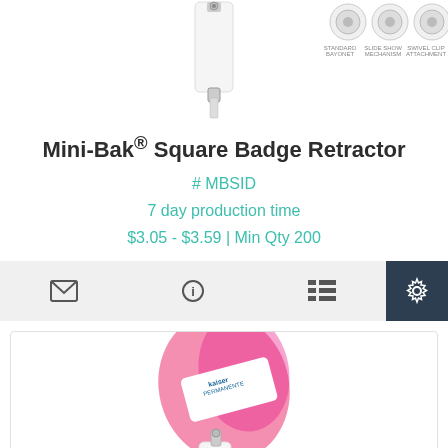[Figure (photo): Top partial view of a Mini-Bak Square Badge Retractor product with white body and metal clip, plus three small variant images (round badge reels) on the right side]
Mini-Bak® Square Badge Retractor
# MBSID
7 day production time
$3.05 - $3.59 | Min Qty 200
[Figure (screenshot): Toolbar with envelope icon, info icon, list icon, and settings gear icon on dark background]
[Figure (photo): Bottom product card showing a pink awareness ribbon badge retractor with Kaiser Permanente branding and a white badge reel with red graphic, partially visible]